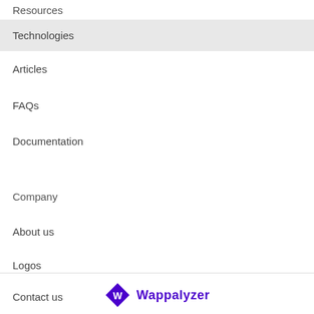Resources
Technologies
Articles
FAQs
Documentation
Company
About us
Logos
Contact us
[Figure (logo): Wappalyzer logo: purple diamond shape with white W letter, followed by bold purple text 'Wappalyzer']